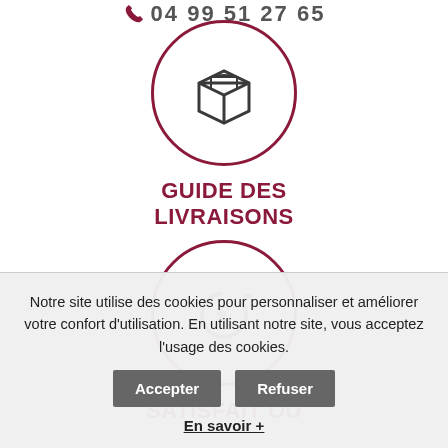04 99 51 27 65
[Figure (illustration): Circular icon with dark red border containing a cardboard box icon]
GUIDE DES LIVRAISONS
[Figure (illustration): Circular icon with dark red border containing a euro sign with circular arrow (refund icon)]
SATISFAIT OU
Notre site utilise des cookies pour personnaliser et améliorer votre confort d'utilisation. En utilisant notre site, vous acceptez l'usage des cookies.
Accepter  Refuser
En savoir +